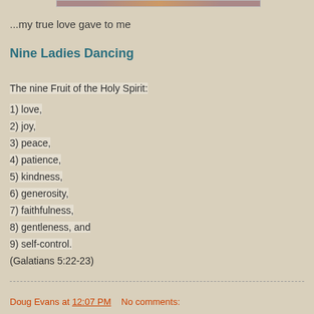[Figure (photo): Partial image visible at the top of the page, cropped]
...my true love gave to me
Nine Ladies Dancing
The nine Fruit of the Holy Spirit:
1) love,
2) joy,
3) peace,
4) patience,
5) kindness,
6) generosity,
7) faithfulness,
8) gentleness, and
9) self-control.
(Galatians 5:22-23)
Doug Evans at 12:07 PM   No comments: